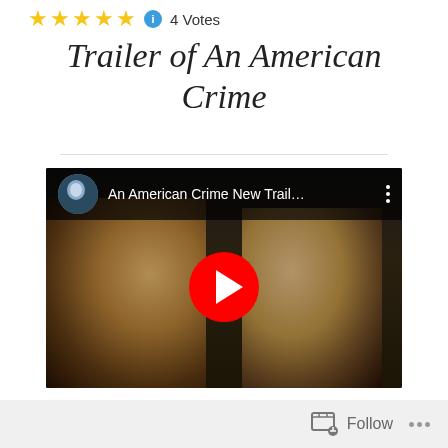★★★★★ ℹ 4 Votes
Trailer of An American Crime
[Figure (screenshot): Embedded YouTube video player showing 'An American Crime New Trail...' with a play button overlay, featuring two children in a dark scene]
Follow ...